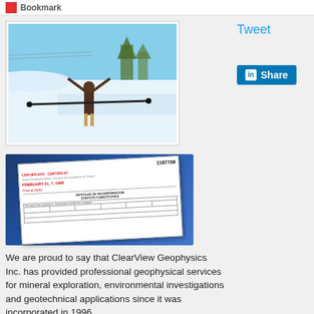Bookmark
[Figure (photo): Person standing outdoors in winter snow, arms raised in a V-shape, holding a long rod or staff horizontally, with snowy landscape and trees in the background.]
[Figure (photo): Articles of Incorporation certificate document number 1187708, dated February 21(?), 1996, on a blue background.]
Tweet
Share
We are proud to say that ClearView Geophysics Inc. has provided professional geophysical services for mineral exploration, environmental investigations and geotechnical applications since it was incorporated in 1996.
ClearView was founded by Joe Mihelcic,